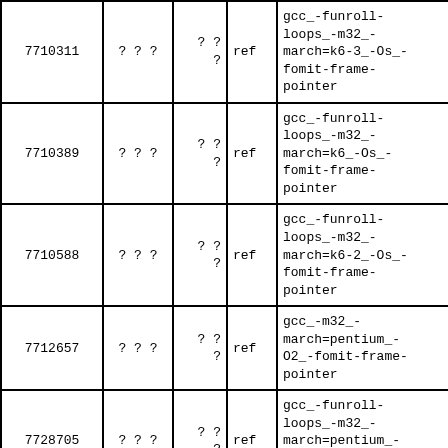| 7710311 | ? ? ? | ? ?
? | ref | gcc_-funroll-loops_-m32_-march=k6-3_-Os_-fomit-frame-pointer | 20 |
| 7710389 | ? ? ? | ? ?
? | ref | gcc_-funroll-loops_-m32_-march=k6_-Os_-fomit-frame-pointer | 20 |
| 7710588 | ? ? ? | ? ?
? | ref | gcc_-funroll-loops_-m32_-march=k6-2_-Os_-fomit-frame-pointer | 20 |
| 7712657 | ? ? ? | ? ?
? | ref | gcc_-m32_-march=pentium_-O2_-fomit-frame-pointer | 20 |
| 7728705 | ? ? ? | ? ?
? | ref | gcc_-funroll-loops_-m32_-march=pentium_-O2_-fomit-frame-pointer | 20 |
| 7731349 | ? ? ? | ? ?
? | ref | gcc_-funroll-loops_-m32_-march=pentium-mmx_-O2_-fomit-frame-pointer | 20 |